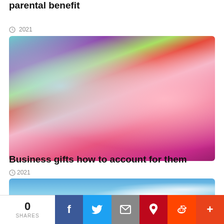parental benefit
2021
[Figure (photo): Colorful gift boxes wrapped with ribbons, including a pink polka-dot box with a hot pink bow, green and teal boxes, and a purple box with silver ribbon, with a website watermark showing 'WEBSITE mercymatters']
Business gifts how to account for them
2021
[Figure (photo): Blue sky with white clouds, partially visible at bottom of page, with an orange circular element on the right side]